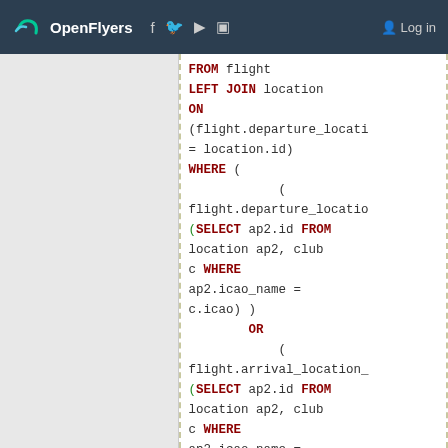OpenFlyers — Log in
FROM flight LEFT JOIN location ON (flight.departure_location = location.id) WHERE ( ( flight.departure_location (SELECT ap2.id FROM location ap2, club c WHERE ap2.icao_name = c.icao) ) OR ( flight.arrival_location_ (SELECT ap2.id FROM location ap2, club c WHERE ap2.icao_name = c.icao) ) AND YEAR( start_date ) = $year GROUP BY icao_name ORDER BY nb_visite